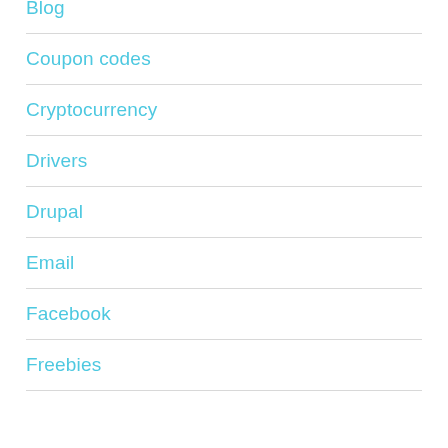Blog
Coupon codes
Cryptocurrency
Drivers
Drupal
Email
Facebook
Freebies